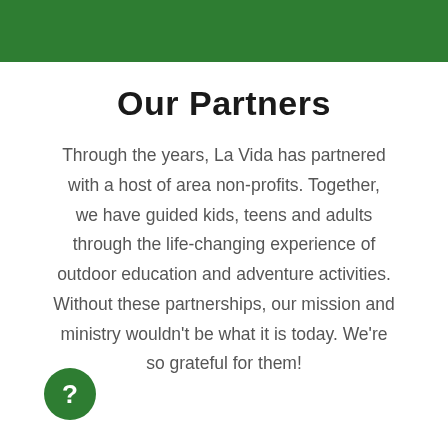Our Partners
Through the years, La Vida has partnered with a host of area non-profits. Together, we have guided kids, teens and adults through the life-changing experience of outdoor education and adventure activities. Without these partnerships, our mission and ministry wouldn't be what it is today. We're so grateful for them!
[Figure (illustration): Green circle with white question mark icon in bottom-left corner]